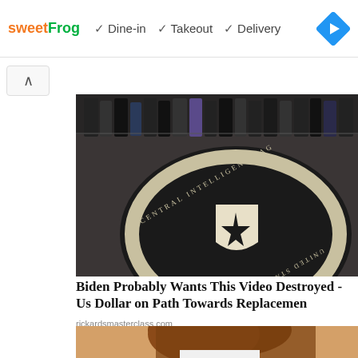[Figure (infographic): sweetFrog ad banner showing logo and dine-in, takeout, delivery checkmarks with navigation arrow icon]
[Figure (photo): People standing around the CIA seal on the floor of CIA headquarters lobby]
Biden Probably Wants This Video Destroyed - Us Dollar on Path Towards Replacemen
rickardsmasterclass.com
[Figure (photo): Close-up of a person with brown hair, partially visible]